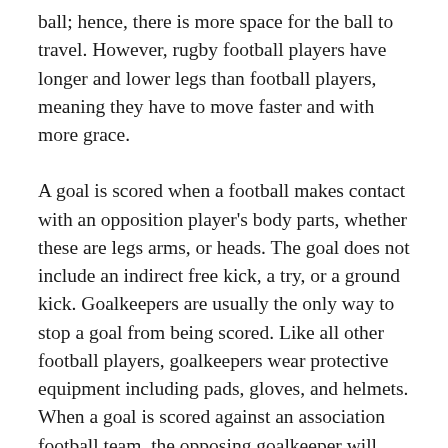ball; hence, there is more space for the ball to travel. However, rugby football players have longer and lower legs than football players, meaning they have to move faster and with more grace.
A goal is scored when a football makes contact with an opposition player's body parts, whether these are legs arms, or heads. The goal does not include an indirect free kick, a try, or a ground kick. Goalkeepers are usually the only way to stop a goal from being scored. Like all other football players, goalkeepers wear protective equipment including pads, gloves, and helmets. When a goal is scored against an association football team, the opposing goalkeeper will typically throw the ball back into play in an attempt to restore balance.
The different football competitions include Association football, National Team Football, Premier...